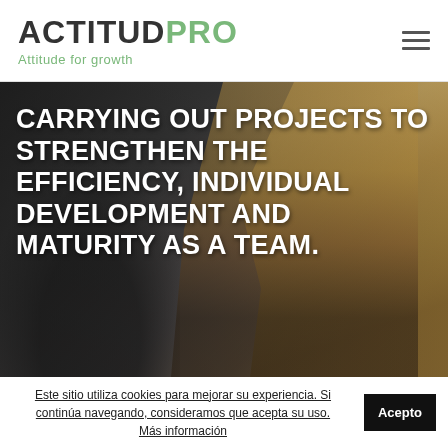ACTITUDPRO — Attitude for growth
[Figure (photo): Two women in a dark business/office setting. A blonde woman faces the camera on the right side, a darker-haired woman is partially visible on the left. Dark moody background.]
CARRYING OUT PROJECTS TO STRENGTHEN THE EFFICIENCY, INDIVIDUAL DEVELOPMENT AND MATURITY AS A TEAM.
Este sitio utiliza cookies para mejorar su experiencia. Si continúa navegando, consideramos que acepta su uso. Más información